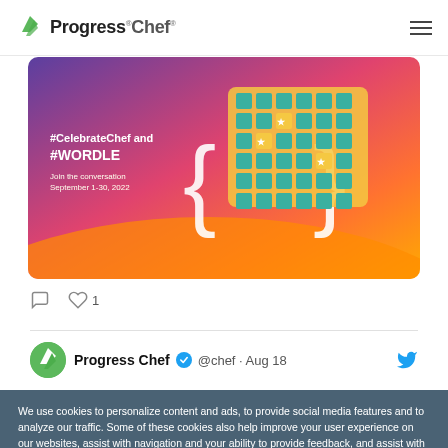Progress Chef
[Figure (screenshot): Progress Chef social media promotional image with colorful gradient background (purple, pink, orange) featuring curly braces and a grid/game graphic]
1 (heart/like count)
Progress Chef @chef · Aug 18
We use cookies to personalize content and ads, to provide social media features and to analyze our traffic. Some of these cookies also help improve your user experience on our websites, assist with navigation and your ability to provide feedback, and assist with our promotional and marketing efforts. Please read our Cookie Policy for a more detailed description and click on the settings button to customize how the site uses cookies for you.
ACCEPT COOKIES
COOKIES SETTINGS